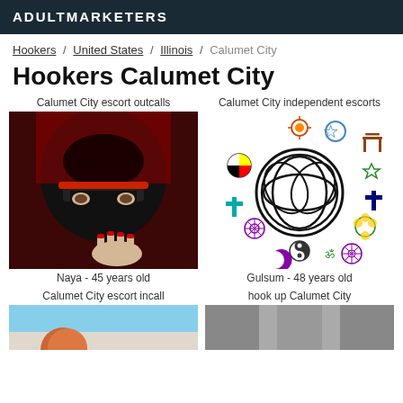ADULTMARKETERS
Hookers / United States / Illinois / Calumet City
Hookers Calumet City
Calumet City escort outcalls
[Figure (photo): Person wearing black niqab and headscarf with red trim, hand visible in foreground]
Naya - 45 years old
Calumet City independent escorts
[Figure (illustration): Collection of religious and spiritual symbols arranged in a circle around a central Celtic tree of life knot symbol]
Gulsum - 48 years old
Calumet City escort incall
[Figure (photo): Partial photo with blue sky and person visible]
hook up Calumet City
[Figure (photo): Close-up photo, dark tones]